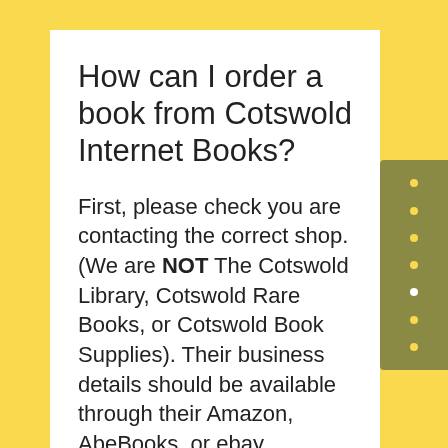How can I order a book from Cotswold Internet Books?
First, please check you are contacting the correct shop. (We are NOT The Cotswold Library, Cotswold Rare Books, or Cotswold Book Supplies). Their business details should be available through their Amazon, AbeBooks, or ebay storefronts